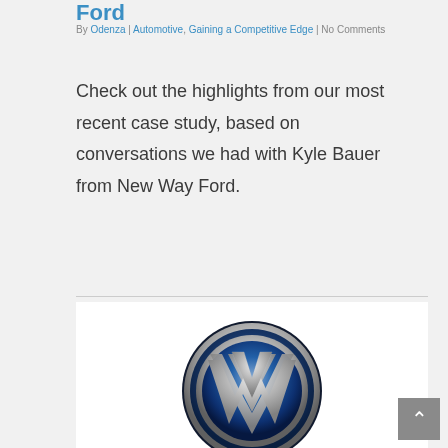Ford
By Odenza | Automotive, Gaining a Competitive Edge | No Comments
Check out the highlights from our most recent case study, based on conversations we had with Kyle Bauer from New Way Ford.
Read More
[Figure (logo): Volkswagen (VW) circular logo with blue and silver metallic finish, large VW letters inside a circle]